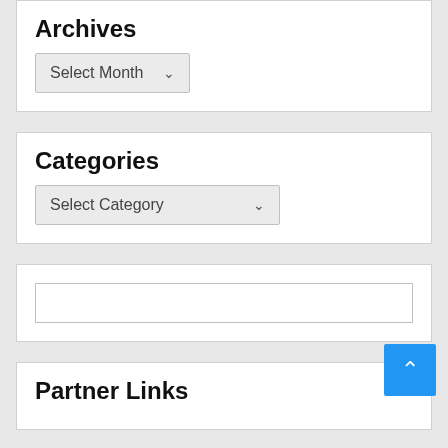Archives
[Figure (screenshot): Select Month dropdown widget]
Categories
[Figure (screenshot): Select Category dropdown widget]
[Figure (screenshot): Empty search input box widget]
Partner Links
[Figure (screenshot): Blue back-to-top button with upward chevron]
You may want to visit: